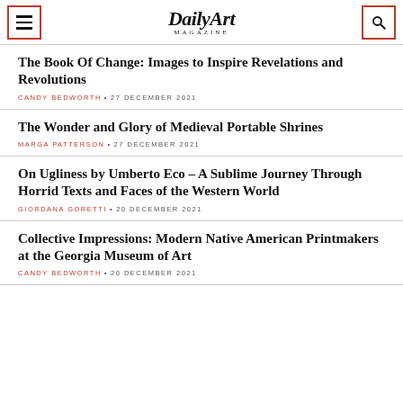DailyArt MAGAZINE
The Book Of Change: Images to Inspire Revelations and Revolutions
CANDY BEDWORTH • 27 DECEMBER 2021
The Wonder and Glory of Medieval Portable Shrines
MARGA PATTERSON • 27 DECEMBER 2021
On Ugliness by Umberto Eco – A Sublime Journey Through Horrid Texts and Faces of the Western World
GIORDANA GORETTI • 20 DECEMBER 2021
Collective Impressions: Modern Native American Printmakers at the Georgia Museum of Art
CANDY BEDWORTH • 20 DECEMBER 2021